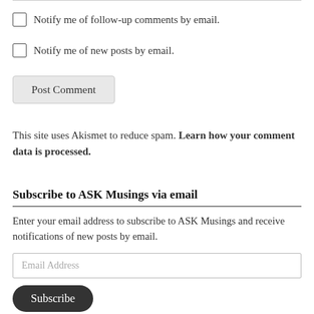Notify me of follow-up comments by email.
Notify me of new posts by email.
Post Comment
This site uses Akismet to reduce spam. Learn how your comment data is processed.
Subscribe to ASK Musings via email
Enter your email address to subscribe to ASK Musings and receive notifications of new posts by email.
Email Address
Subscribe